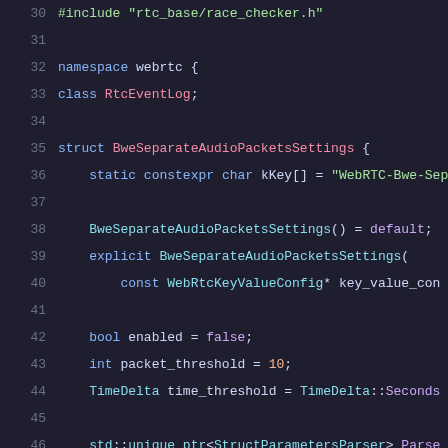[Figure (screenshot): Source code screenshot showing C++ code with syntax highlighting, lines 30-51, defining BweSeparateAudioPacketsSettings struct and beginning of DelayBasedBwe class in WebRTC codebase.]